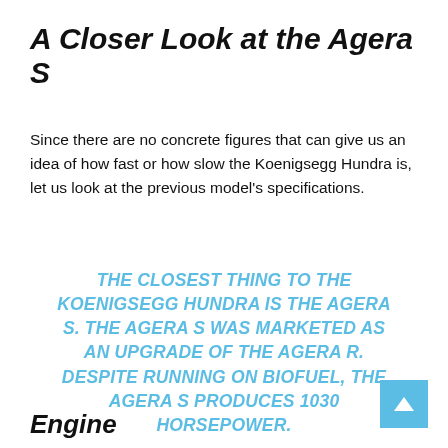A Closer Look at the Agera S
Since there are no concrete figures that can give us an idea of how fast or how slow the Koenigsegg Hundra is, let us look at the previous model's specifications.
THE CLOSEST THING TO THE KOENIGSEGG HUNDRA IS THE AGERA S. THE AGERA S WAS MARKETED AS AN UPGRADE OF THE AGERA R. DESPITE RUNNING ON BIOFUEL, THE AGERA S PRODUCES 1030 HORSEPOWER.
Engine